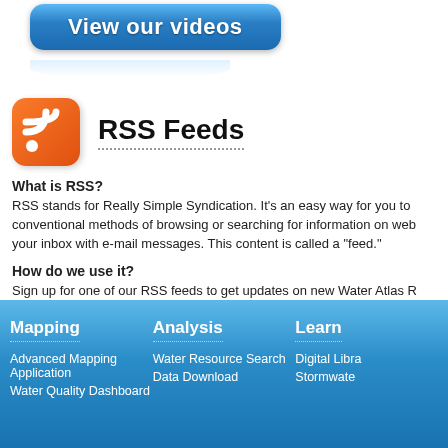[Figure (screenshot): Blue rounded button with text 'View our videos' with reflection below]
RSS Feeds
What is RSS?
RSS stands for Really Simple Syndication. It's an easy way for you to conventional methods of browsing or searching for information on web your inbox with e-mail messages. This content is called a "feed."
How do we use it?
Sign up for one of our RSS feeds to get updates on new Water Atlas R
Water Atlas RSS Feeds:
Recent News
Mapping
Analysis
Learn
Advanced Mapping Application
Water Resource Search
Digital Libra
Water Quality Dashboard
Data Download
Stormwate